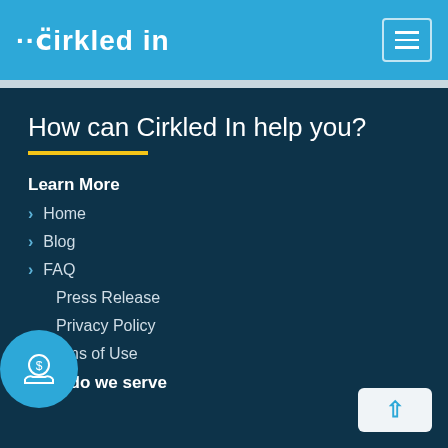cirkled in
How can Cirkled In help you?
Learn More
Home
Blog
FAQ
Press Release
Privacy Policy
Terms of Use
Who do we serve